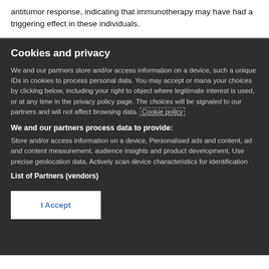antitumor response, indicating that immunotherapy may have had a triggering effect in these individuals.
Cookies and privacy
We and our partners store and/or access information on a device, such as unique IDs in cookies to process personal data. You may accept or manage your choices by clicking below, including your right to object where legitimate interest is used, or at any time in the privacy policy page. These choices will be signaled to our partners and will not affect browsing data. Cookie policy
We and our partners process data to provide:
Store and/or access information on a device, Personalised ads and content, ad and content measurement, audience insights and product development, Use precise geolocation data, Actively scan device characteristics for identification
List of Partners (vendors)
I Accept